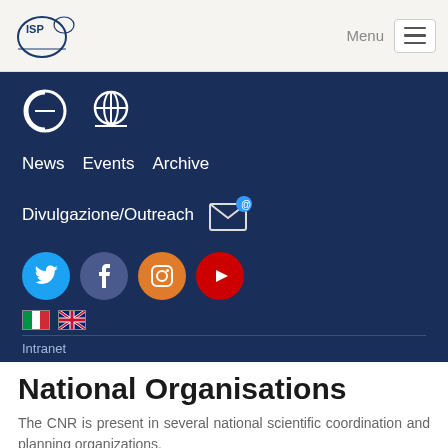[Figure (logo): ISP logo in top left navigation bar]
[Figure (screenshot): Navy blue navigation panel with icons (antenna, globe), nav links (News, Events, Archive), Divulgazione/Outreach with email icon, social media buttons (Twitter, Facebook, Instagram, YouTube), Italian and UK flags, and Intranet link]
National Organisations
The CNR is present in several national scientific coordination and planning organizations.